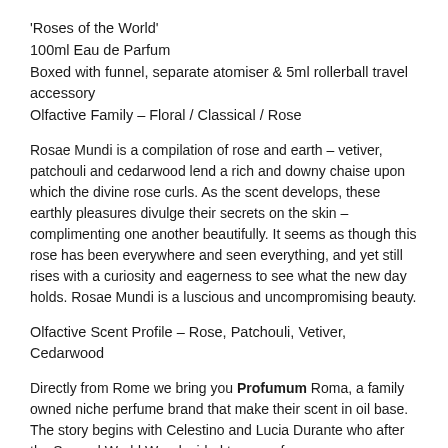'Roses of the World'
100ml Eau de Parfum
Boxed with funnel, separate atomiser & 5ml rollerball travel accessory
Olfactive Family – Floral / Classical / Rose
Rosae Mundi is a compilation of rose and earth – vetiver, patchouli and cedarwood lend a rich and downy chaise upon which the divine rose curls. As the scent develops, these earthly pleasures divulge their secrets on the skin – complimenting one another beautifully. It seems as though this rose has been everywhere and seen everything, and yet still rises with a curiosity and eagerness to see what the new day holds. Rosae Mundi is a luscious and uncompromising beauty.
Olfactive Scent Profile – Rose, Patchouli, Vetiver, Cedarwood
Directly from Rome we bring you Profumum Roma, a family owned niche perfume brand that make their scent in oil base. The story begins with Celestino and Lucia Durante who after the Second World War decided to move from a